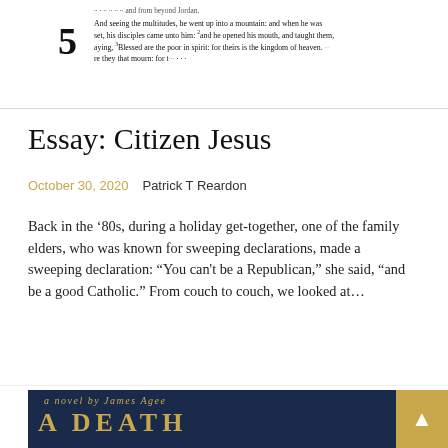[Figure (photo): Partial scan of a Bible page showing Chapter 5 text with verses about multitudes and beatitudes (Sermon on the Mount), with a large chapter number '5' on the left margin.]
Essay: Citizen Jesus
October 30, 2020   Patrick T Reardon
Back in the ‘80s, during a holiday get-together, one of the family elders, who was known for sweeping declarations, made a sweeping declaration: “You can't be a Republican,” she said, “and be a good Catholic.” From couch to couch, we looked at…
♥ 0
[Figure (photo): Bottom portion of a book cover for 'A Death' by James Agee, dark blue background with gold lettering.]